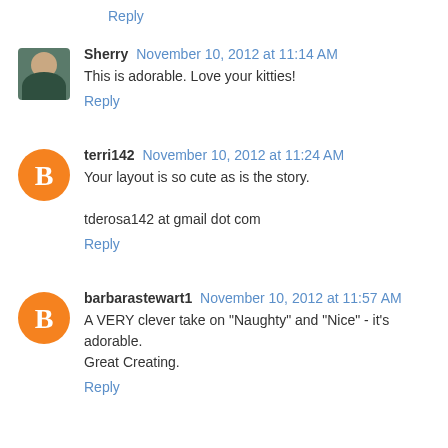Reply
Sherry  November 10, 2012 at 11:14 AM
This is adorable. Love your kitties!
Reply
terri142  November 10, 2012 at 11:24 AM
Your layout is so cute as is the story.

tderosa142 at gmail dot com
Reply
barbarastewart1  November 10, 2012 at 11:57 AM
A VERY clever take on "Naughty" and "Nice" - it's adorable. Great Creating.
Reply